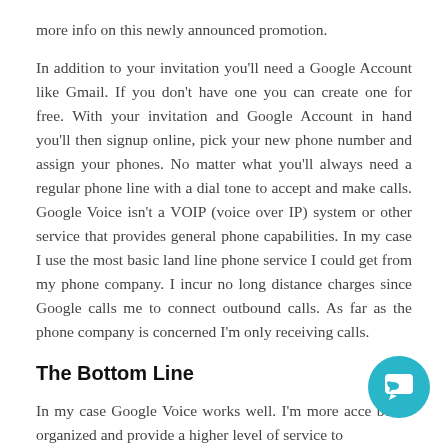more info on this newly announced promotion.
In addition to your invitation you'll need a Google Account like Gmail. If you don't have one you can create one for free. With your invitation and Google Account in hand you'll then signup online, pick your new phone number and assign your phones. No matter what you'll always need a regular phone line with a dial tone to accept and make calls. Google Voice isn't a VOIP (voice over IP) system or other service that provides general phone capabilities. In my case I use the most basic land line phone service I could get from my phone company. I incur no long distance charges since Google calls me to connect outbound calls. As far as the phone company is concerned I'm only receiving calls.
The Bottom Line
In my case Google Voice works well. I'm more acce better organized and provide a higher level of service to